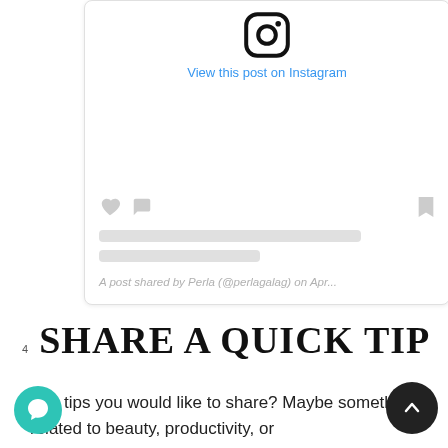[Figure (screenshot): Instagram embed card showing the Instagram logo icon, a 'View this post on Instagram' link in blue, placeholder gray area, action icons (heart, comment, bookmark), two gray placeholder text lines, and a caption 'A post shared by Perla (@perlagalag) on Apr...']
4 SHARE A QUICK TIP
Any tips you would like to share? Maybe something related to beauty, productivity, or